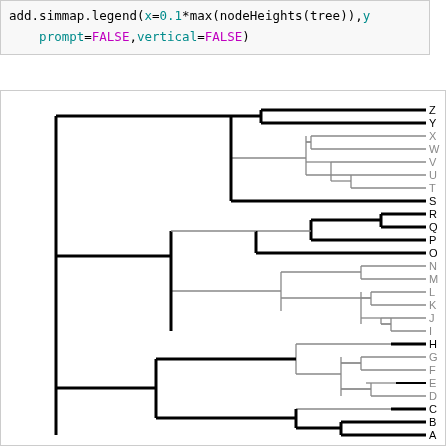add.simmap.legend(x=0.1*max(nodeHeights(tree)),y=
    prompt=FALSE,vertical=FALSE)
[Figure (other): Phylogenetic tree with 26 labeled tips (A through Z). The tree shows hierarchical clustering with branches colored black and gray representing different ancestral state mappings (simmap output). Tip labels A-Z are shown at the right side of the tree.]